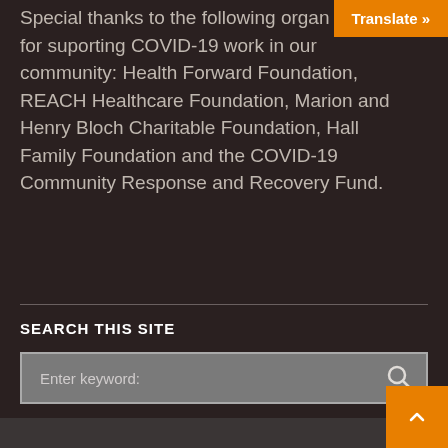Special thanks to the following organizations for suporting COVID-19 work in our community: Health Forward Foundation, REACH Healthcare Foundation, Marion and Henry Bloch Charitable Foundation, Hall Family Foundation and the COVID-19 Community Response and Recovery Fund.
Translate »
SEARCH THIS SITE
Enter keyword:
[Figure (other): Back to top arrow button in orange square]